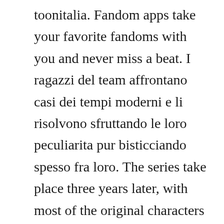toonitalia. Fandom apps take your favorite fandoms with you and never miss a beat. I ragazzi del team affrontano casi dei tempi moderni e li risolvono sfruttando le loro peculiarita pur bisticciando spesso fra loro. The series take place three years later, with most of the original characters now in high school. Player 1 uses ad keys to move, j key to attack, and k key to jump. Feb 20, 2015 a group of digimon soon befriend them and keep the kids out of harms way.
Digimon adventure 02, known in north